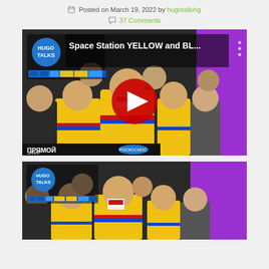Posted on March 19, 2022 by hugotalking
37 Comments
[Figure (screenshot): YouTube video thumbnail for 'Space Station YELLOW and BL...' by Hugo Talks, showing cosmonauts in yellow and blue suits inside the International Space Station with a YouTube play button overlay]
[Figure (photo): Still image from the same video showing cosmonauts in yellow and blue suits inside the space station, with Hugo Talks logo overlay in top left and purple diagonal design element]